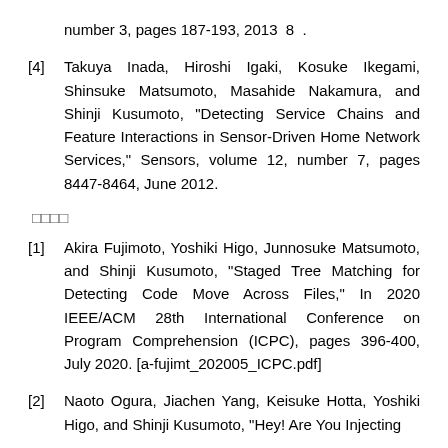number 3, pages 187-193, 2013  8  .
[4]  Takuya Inada, Hiroshi Igaki, Kosuke Ikegami, Shinsuke Matsumoto, Masahide Nakamura, and Shinji Kusumoto, "Detecting Service Chains and Feature Interactions in Sensor-Driven Home Network Services," Sensors, volume 12, number 7, pages 8447-8464, June 2012.
□□□□
[1] Akira Fujimoto, Yoshiki Higo, Junnosuke Matsumoto, and Shinji Kusumoto, "Staged Tree Matching for Detecting Code Move Across Files," In 2020 IEEE/ACM 28th International Conference on Program Comprehension (ICPC), pages 396-400, July 2020. [a-fujimt_202005_ICPC.pdf]
[2] Naoto Ogura, Jiachen Yang, Keisuke Hotta, Yoshiki Higo, and Shinji Kusumoto, "Hey! Are You Injecting